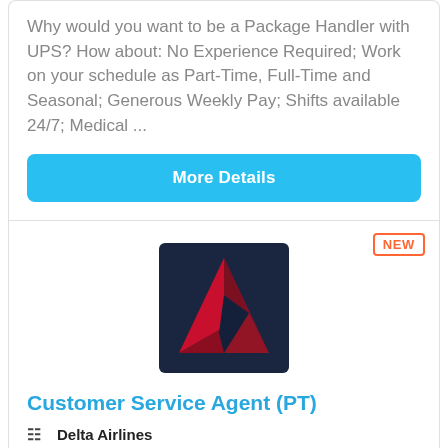Why would you want to be a Package Handler with UPS? How about: No Experience Required; Work on your schedule as Part-Time, Full-Time and Seasonal; Generous Weekly Pay; Shifts available 24/7; Medical ...
More Details
[Figure (logo): Delta Airlines logo — dark navy blue square background with a red geometric triangle/arrow shape made of faceted planes]
Customer Service Agent (PT)
Delta Airlines
Sioux Falls, SD, US
There are 75,000+ reasons to join Delta Airlines ...